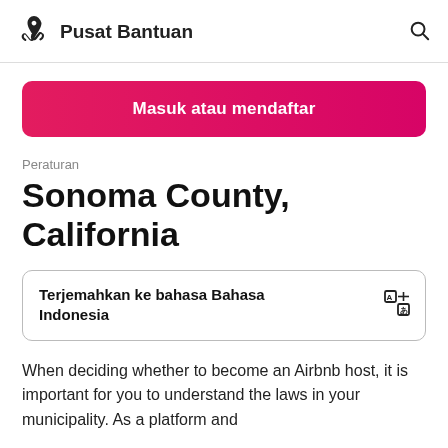Pusat Bantuan
Masuk atau mendaftar
Peraturan
Sonoma County, California
Terjemahkan ke bahasa Bahasa Indonesia
When deciding whether to become an Airbnb host, it is important for you to understand the laws in your municipality. As a platform and